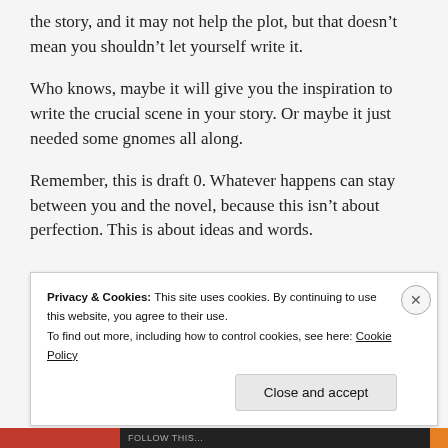the story, and it may not help the plot, but that doesn’t mean you shouldn’t let yourself write it.
Who knows, maybe it will give you the inspiration to write the crucial scene in your story. Or maybe it just needed some gnomes all along.
Remember, this is draft 0. Whatever happens can stay between you and the novel, because this isn’t about perfection. This is about ideas and words.
Privacy & Cookies: This site uses cookies. By continuing to use this website, you agree to their use.
To find out more, including how to control cookies, see here: Cookie Policy
Close and accept